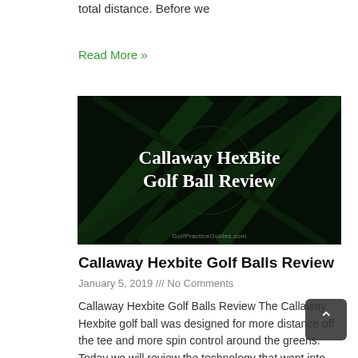total distance. Before we
Read More »
[Figure (photo): Dark promotional image with white bold serif text reading 'Callaway HexBite Golf Ball Review' on a black background with dark green leaf/line patterns and a watermark 'GolfPracticeGuides.com' at the bottom.]
Callaway Hexbite Golf Balls Review
January 5, 2019 /// No Comments
Callaway Hexbite Golf Balls Review The Callaway Hexbite golf ball was designed for more distance off the tee and more spin control around the greens. Today we will review the technology that went into designing the Callaway Hexbite and share our review of how it feels to hit these golf